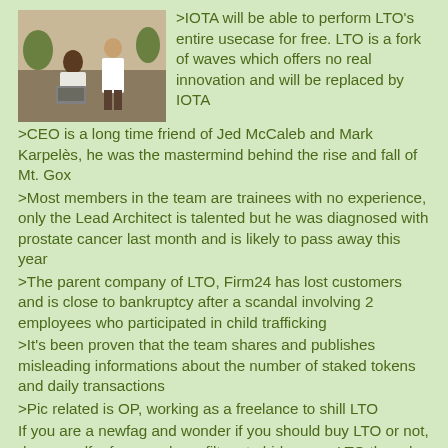[Figure (photo): A person sitting outdoors with a laptop, with another person nearby in a rural setting.]
>IOTA will be able to perform LTO's entire usecase for free. LTO is a fork of waves which offers no real innovation and will be replaced by IOTA
>CEO is a long time friend of Jed McCaleb and Mark Karpelès, he was the mastermind behind the rise and fall of Mt. Gox
>Most members in the team are trainees with no experience, only the Lead Architect is talented but he was diagnosed with prostate cancer last month and is likely to pass away this year
>The parent company of LTO, Firm24 has lost customers and is close to bankruptcy after a scandal involving 2 employees who participated in child trafficking
>It's been proven that the team shares and publishes misleading informations about the number of staked tokens and daily transactions
>Pic related is OP, working as a freelance to shill LTO
If you are a newfag and wonder if you should buy LTO or not, do yourself a favor and use filters to hide every LTO thread. Do not listen to the paid